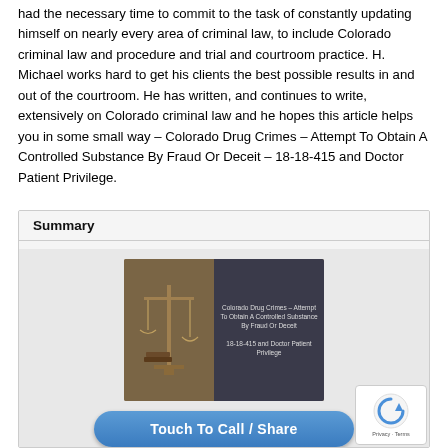had the necessary time to commit to the task of constantly updating himself on nearly every area of criminal law, to include Colorado criminal law and procedure and trial and courtroom practice. H. Michael works hard to get his clients the best possible results in and out of the courtroom. He has written, and continues to write, extensively on Colorado criminal law and he hopes this article helps you in some small way – Colorado Drug Crimes – Attempt To Obtain A Controlled Substance By Fraud Or Deceit – 18-18-415 and Doctor Patient Privilege.
Summary
[Figure (photo): Image showing scales of justice with an open book and gavel, overlaid with text: 'Colorado Drug Crimes – Attempt To Obtain A Controlled Substance By Fraud Or Deceit – 18-18-415 and Doctor Patient Privilege']
Touch To Call / Share